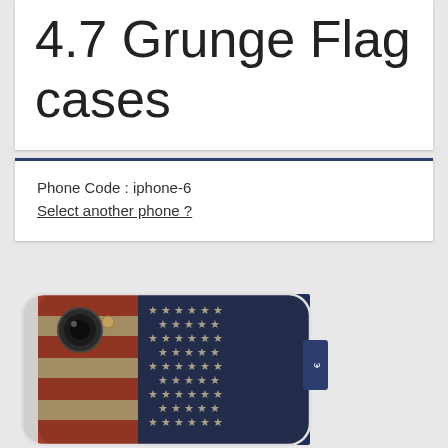4.7 Grunge Flag cases
Phone Code : iphone-6
Select another phone ?
[Figure (photo): iPhone 6 phone case with grunge American flag design showing red/white stripes and blue field with white stars, viewed from the back at an angle]